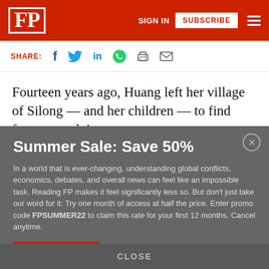FP | SIGN IN | SUBSCRIBE
SHARE: [social icons: Facebook, Twitter, LinkedIn, WhatsApp, Print, Email]
Fourteen years ago, Huang left her village of Silong — and her children — to find factory work in
Summer Sale: Save 50%
In a world that is ever-changing, understanding global conflicts, economics, debates, and overall news can feel like an impossible task. Reading FP makes it feel significantly less so. But don't just take our word for it: Try one month of access at half the price. Enter promo code FPSUMMER22 to claim this rate for your first 12 months. Cancel anytime.
JOIN TODAY
CLOSE